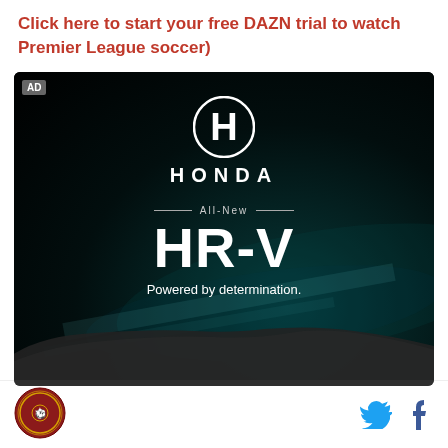Click here to start your free DAZN trial to watch Premier League soccer)
[Figure (advertisement): Honda HR-V advertisement on dark background. Shows Honda logo (white H in circle), HONDA wordmark, 'All-New' text with decorative lines, large 'HR-V' text, tagline 'Powered by determination.' and bottom portion of a car. Small 'AD' label in top left corner.]
[Figure (logo): Circular emblem/logo in bottom left footer area]